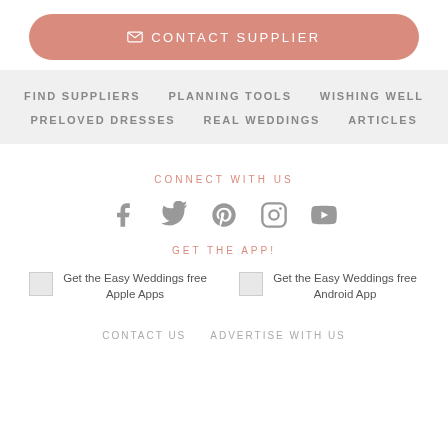CONTACT SUPPLIER
FIND SUPPLIERS
PLANNING TOOLS
WISHING WELL
PRELOVED DRESSES
REAL WEDDINGS
ARTICLES
CONNECT WITH US
[Figure (infographic): Social media icons: Facebook, Twitter, Pinterest, Instagram, YouTube]
GET THE APP!
Get the Easy Weddings free Apple Apps
Get the Easy Weddings free Android App
CONTACT US   ADVERTISE WITH US